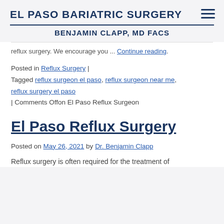EL PASO BARIATRIC SURGERY — BENJAMIN CLAPP, MD FACS
reflux surgery. We encourage you ... Continue reading.
Posted in Reflux Surgery | Tagged reflux surgeon el paso, reflux surgeon near me, reflux surgery el paso | Comments Offon El Paso Reflux Surgeon
El Paso Reflux Surgery
Posted on May 26, 2021 by Dr. Benjamin Clapp
Reflux surgery is often required for the treatment of